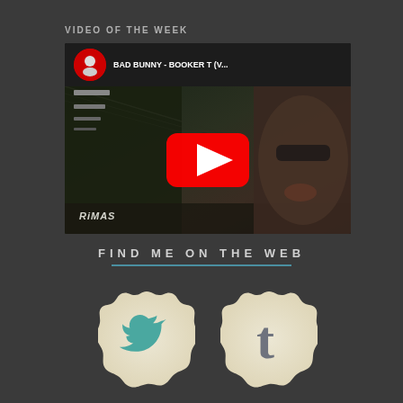VIDEO OF THE WEEK
[Figure (screenshot): YouTube video embed showing Bad Bunny - Booker T music video thumbnail with play button, channel avatar, and Rimas watermark]
FIND ME ON THE WEB
[Figure (illustration): Social media badge icons - Twitter bird icon and Tumblr 't' icon in vintage badge/seal style with cream/beige scalloped border]